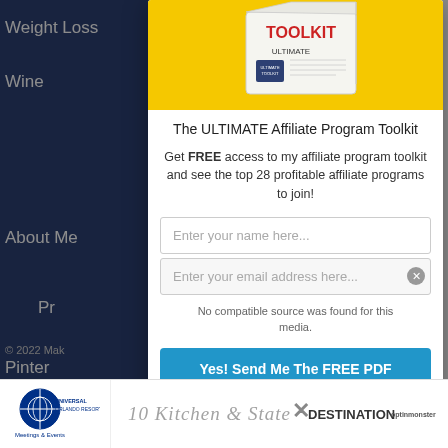Weight Loss
Wine
About Me
Pr
Pinter
© 2022 Mak
[Figure (illustration): White box labeled 'ULTIMATE Affiliate Program TOOLKIT' on a yellow background]
The ULTIMATE Affiliate Program Toolkit
Get FREE access to my affiliate program toolkit and see the top 28 profitable affiliate programs to join!
Enter your name here...
Enter your email address here...
Yes! Send Me The FREE PDF
No compatible source was found for this media.
[Figure (logo): Universal Orlando Resort Meetings & Events logo]
10 Kitchen & State
DESTINATION
optinmonster